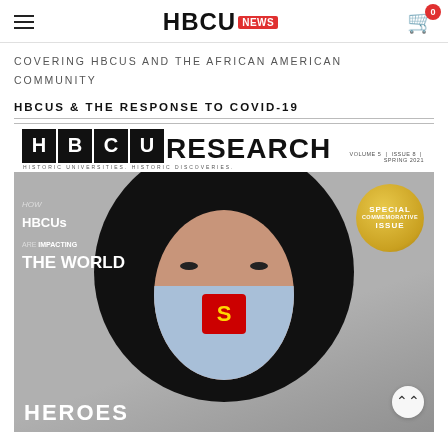HBCU NEWS
COVERING HBCUS AND THE AFRICAN AMERICAN COMMUNITY
HBCUS & THE RESPONSE TO COVID-19
[Figure (illustration): HBCU Research magazine cover. Volume 5, Issue 8, Spring 2021. Features the HBCU Research logo with individual letter boxes for H, B, C, U followed by RESEARCH in large text. Subtitle: Historic Universities. Historic Discoveries. Cover image shows a stylized illustration of a Black woman with a large afro wearing a Superman mask. Text reads: HOW HBCUs ARE IMPACTING THE WORLD. A gold circular badge reads SPECIAL COMMEMORATIVE ISSUE. The word HEROES appears at the bottom. A scroll-up button appears in the bottom right corner.]